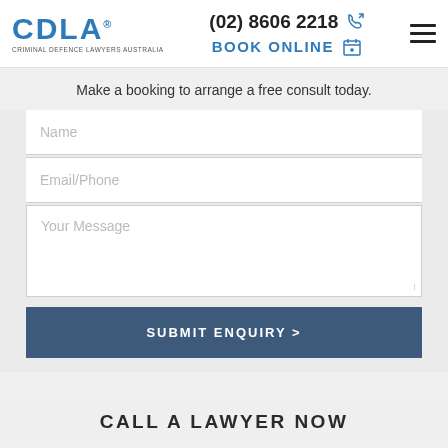CDLA Criminal Defence Lawyers Australia | (02) 8606 2218 | BOOK ONLINE
Make a booking to arrange a free consult today.
[Figure (screenshot): Web contact form with Name, Email/Phone, and Your Message fields, plus a SUBMIT ENQUIRY button]
CALL A LAWYER NOW